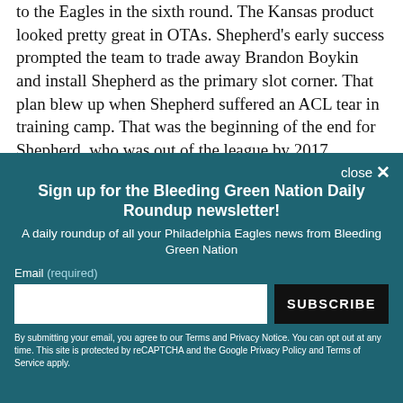to the Eagles in the sixth round. The Kansas product looked pretty great in OTAs. Shepherd's early success prompted the team to trade away Brandon Boykin and install Shepherd as the primary slot corner. That plan blew up when Shepherd suffered an ACL tear in training camp. That was the beginning of the end for Shepherd, who was out of the league by 2017.
[Figure (screenshot): Email newsletter signup modal overlay with dark teal background. Title: 'Sign up for the Bleeding Green Nation Daily Roundup newsletter!' Subtitle: 'A daily roundup of all your Philadelphia Eagles news from Bleeding Green Nation'. Email input field and SUBSCRIBE button. Disclaimer text about Terms and Privacy Notice.]